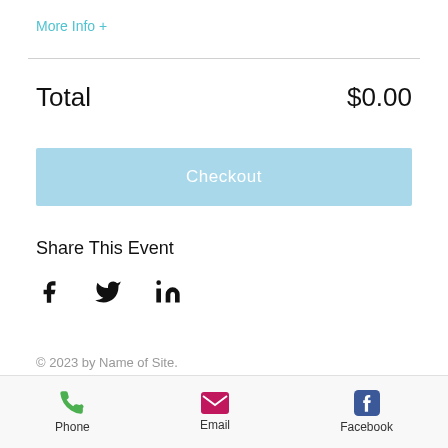More Info +
Total   $0.00
Checkout
Share This Event
[Figure (illustration): Social media share icons: Facebook (f), Twitter (bird), LinkedIn (in)]
© 2023 by Name of Site. Proudly created with Wix.com
Phone  Email  Facebook